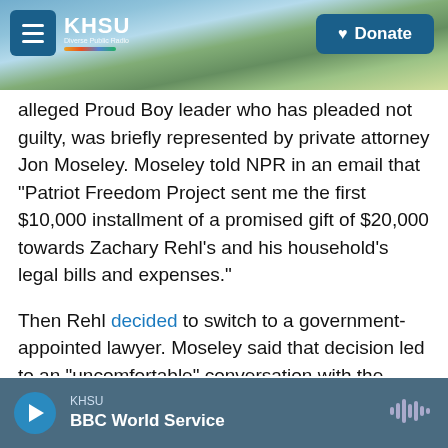[Figure (screenshot): KHSU public radio website header with beach/coastal background image, hamburger menu button, KHSU logo with colorful stripe, and Donate button]
alleged Proud Boy leader who has pleaded not guilty, was briefly represented by private attorney Jon Moseley. Moseley told NPR in an email that "Patriot Freedom Project sent me the first $10,000 installment of a promised gift of $20,000 towards Zachary Rehl's and his household's legal bills and expenses."
Then Rehl decided to switch to a government-appointed lawyer. Moseley said that decision led to an "uncomfortable" conversation with the Patriot Freedom Project. "They weren't happy," Moseley said.
KHSU  BBC World Service